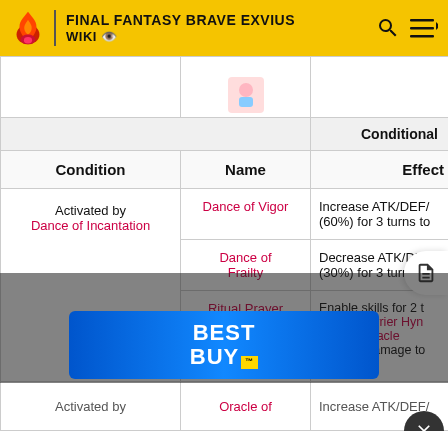FINAL FANTASY BRAVE EXVIUS WIKI
| Condition | Name | Effect |
| --- | --- | --- |
| Activated by Dance of Incantation | Dance of Vigor | Increase ATK/DEF/ (60%) for 3 turns to |
|  | Dance of Frailty | Decrease ATK/DEF (30%) for 3 turns to |
|  | Ritual Prayer | Enable skills for 2 t caster: Barrier Hyn Defeat, Oracle Mitigate damage to caster |
| Activated by | Oracle of | Increase ATK/DEF/ |
[Figure (screenshot): Best Buy advertisement banner overlay at bottom of page]